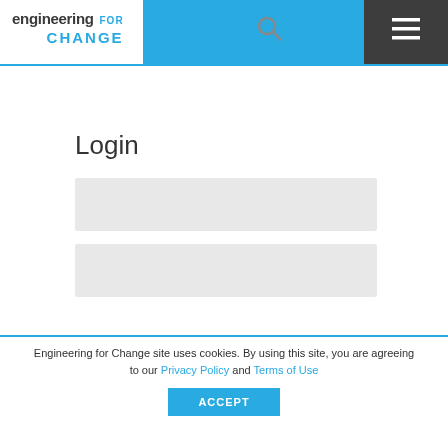engineering FOR CHANGE
Login
[Figure (other): Username input field (empty, light gray background)]
[Figure (other): Password input field (empty, light gray background)]
Engineering for Change site uses cookies. By using this site, you are agreeing to our Privacy Policy and Terms of Use
ACCEPT